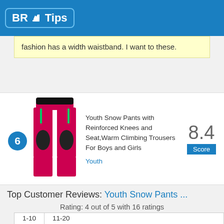BR Tips
fashion has a width waistband. I want to these.
Youth Snow Pants with Reinforced Knees and Seat,Warm Climbing Trousers For Boys and Girls
Youth
Score: 8.4
Top Customer Reviews: Youth Snow Pants ...
Rating: 4 out of 5 with 16 ratings
| 1-10 | 11-20 |
| --- | --- |